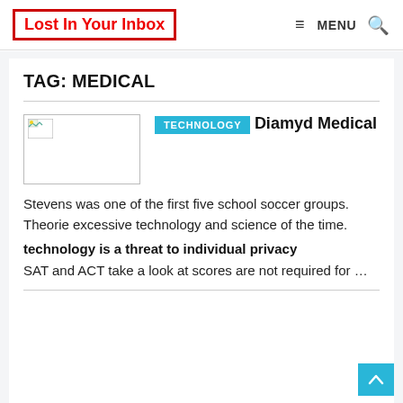Lost In Your Inbox | MENU (search)
TAG: MEDICAL
[Figure (photo): Broken image placeholder thumbnail]
TECHNOLOGY
Diamyd Medical
Stevens was one of the first five school soccer groups. Theories excessive technology and science of the time.
technology is a threat to individual privacy
SAT and ACT take a look at scores are not required for …